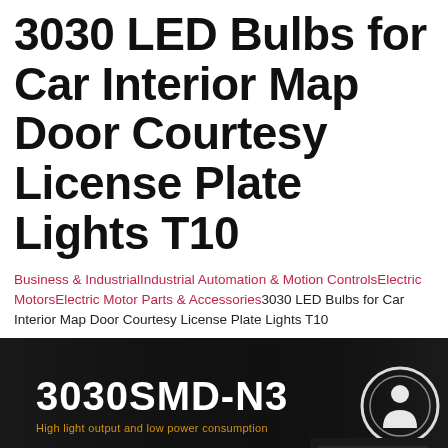3030 LED Bulbs for Car Interior Map Door Courtesy License Plate Lights T10
Business & IndustrialIndustrial Automation & Motion ControlsElectric MotorsElectric Motor Parts & Accessories3030 LED Bulbs for Car Interior Map Door Courtesy License Plate Lights T10
[Figure (photo): Product promotional image on black background showing '3030SMD-N3' in large white bold text with subtitle 'High light output and low power consumption' in orange/yellow, and a partial image of an LED circuit board/bulb on the right side.]